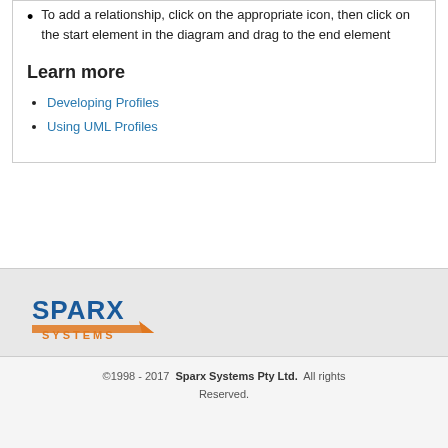To add a relationship, click on the appropriate icon, then click on the start element in the diagram and drag to the end element
Learn more
Developing Profiles
Using UML Profiles
[Figure (logo): Sparx Systems logo with orange arrow and blue text]
©1998 - 2017  Sparx Systems Pty Ltd.  All rights Reserved.